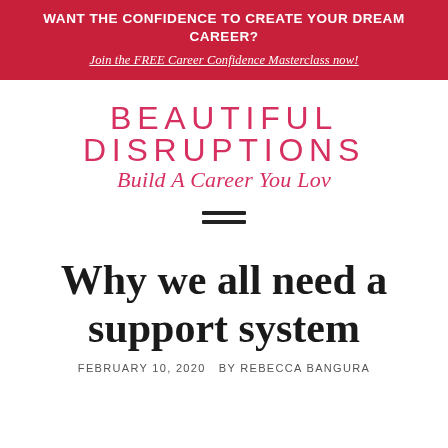WANT THE CONFIDENCE TO CREATE YOUR DREAM CAREER?
Join the FREE Career Confidence Masterclass now!
[Figure (logo): Beautiful Disruptions logo with tagline 'Build A Career You Lov']
[Figure (other): Hamburger menu icon — two horizontal bars]
Why we all need a support system
FEBRUARY 10, 2020  BY REBECCA BANGURA